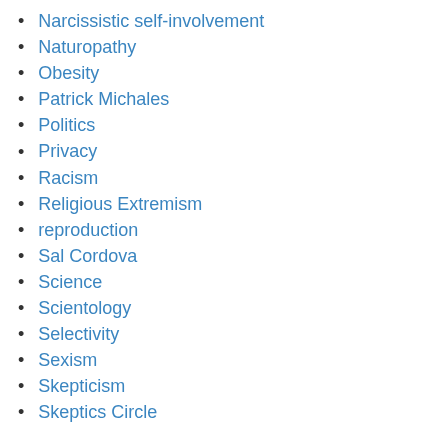Narcissistic self-involvement
Naturopathy
Obesity
Patrick Michales
Politics
Privacy
Racism
Religious Extremism
reproduction
Sal Cordova
Science
Scientology
Selectivity
Sexism
Skepticism
Skeptics Circle